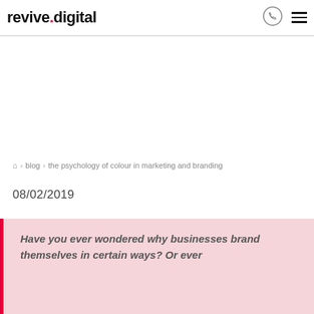revive.digital
🏠 > blog > the psychology of colour in marketing and branding
08/02/2019
Have you ever wondered why businesses brand themselves in certain ways? Or ever